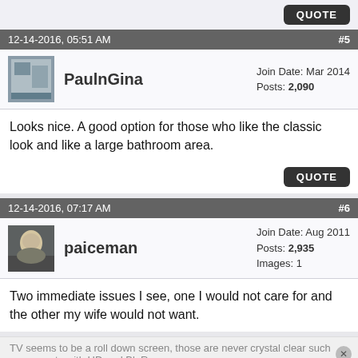QUOTE
12-14-2016, 05:51 AM  #5
PaulnGina  Join Date: Mar 2014  Posts: 2,090
Looks nice. A good option for those who like the classic look and like a large bathroom area.
QUOTE
12-14-2016, 07:17 AM  #6
paiceman  Join Date: Aug 2011  Posts: 2,935  Images: 1
Two immediate issues I see, one I would not care for and the other my wife would not want.
TV seems to be a roll down screen, those are never crystal clear such as one gets with HD and BluRay.